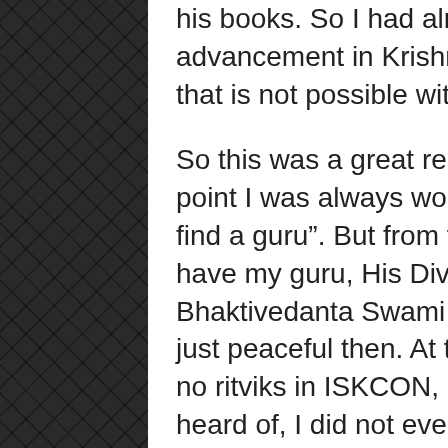his books. So I had already made significant advancement in Krishna consciousness and that is not possible without initiation.
So this was a great relief for me. Up to this point I was always worrying that “I need to find a guru”. But from that point on I knew, “I have my guru, His Divine Grace A.C. Bhaktivedanta Swami Prabhupada. So I was just peaceful then. At this time there is still no ritviks in ISKCON, at least not that I had heard of, I did not even know the word ritvik and I knew nothing about Srila Prabhupada's July 9th letter. But I did know that Srila Prabhupada was my guru so I stopped looking for any other guru and just concentrated on reading Srila Prabhupada's books and